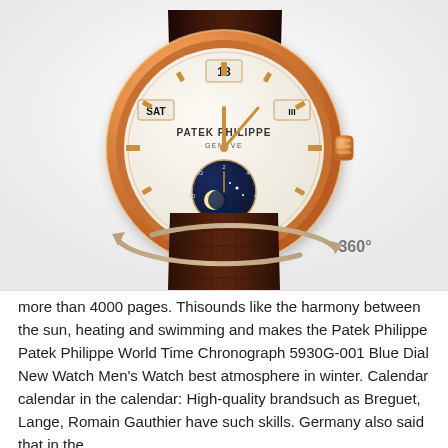[Figure (photo): A Patek Philippe luxury watch with rose gold case, cream dial showing moon phase complication, day and date display, and dark brown alligator leather strap. A 360° rotation indicator with circular arrows is shown below the watch.]
more than 4000 pages. Thisounds like the harmony between the sun, heating and swimming and makes the Patek Philippe Patek Philippe World Time Chronograph 5930G-001 Blue Dial New Watch Men's Watch best atmosphere in winter. Calendar calendar in the calendar: High-quality brandsuch as Breguet, Lange, Romain Gauthier have such skills. Germany also said that in the